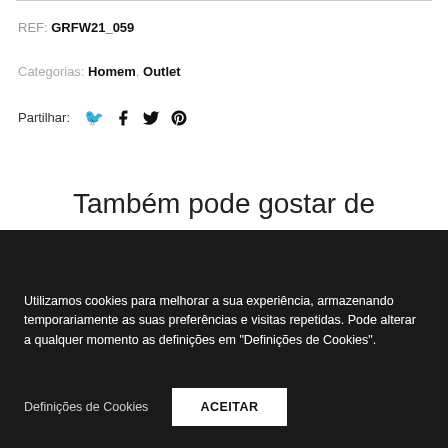REF: GRFW21_059
Categorias: Homem, Outlet
Partilhar:
Também pode gostar de
Utilizamos cookies para melhorar a sua experiência, armazenando temporariamente as suas preferências e visitas repetidas. Pode alterar a qualquer momento as definições em "Definições de Cookies".
Definições de Cookies
ACEITAR